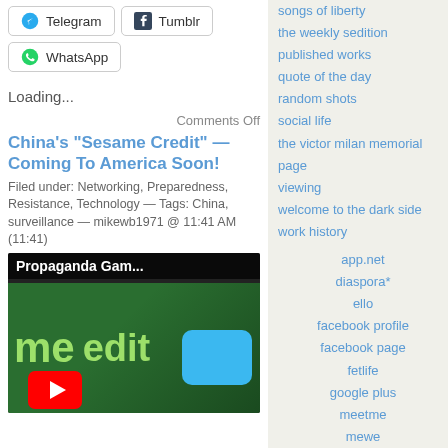Telegram
Tumblr
WhatsApp
Loading...
Comments Off
China’s “Sesame Credit” — Coming To America Soon!
Filed under: Networking, Preparedness, Resistance, Technology — Tags: China, surveillance — mikewb1971 @ 11:41 AM (11:41)
[Figure (screenshot): Thumbnail image showing 'Propaganda Gam...' title bar on dark background with green text showing 'me' and 'edit', a blue speech bubble, and a YouTube play button icon at the bottom.]
songs of liberty
the weekly sedition
published works
quote of the day
random shots
social life
the victor milan memorial page
viewing
welcome to the dark side
work history
app.net
diaspora*
ello
facebook profile
facebook page
fetlife
google plus
meetme
mewe
seen.life
synereo
tea party community
twitter
tsu
vk